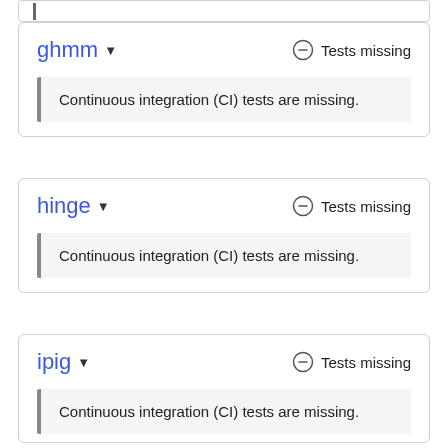ghmm ▾  Tests missing
Continuous integration (CI) tests are missing.
hinge ▾  Tests missing
Continuous integration (CI) tests are missing.
ipig ▾  Tests missing
Continuous integration (CI) tests are missing.